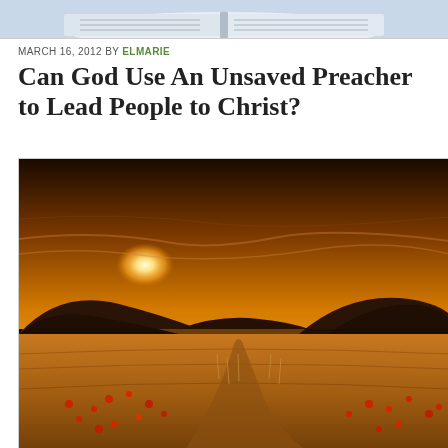[Figure (photo): Partial view of an open book or papers at top of page]
MARCH 16, 2012 BY ELMARIE
Can God Use An Unsaved Preacher to Lead People to Christ?
[Figure (photo): Golden sunset landscape with hills, wheat field and red poppies]
Privacy & Cookies: This site uses cookies. By continuing to use this website, you agree to their use.
To find out more, including how to control cookies, see here: Cookie Policy
Close and accept